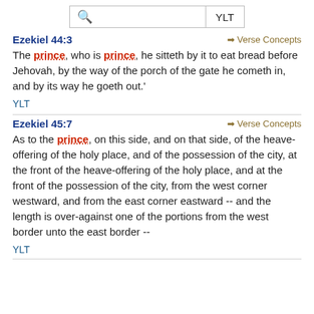[Figure (other): Search bar with magnifying glass icon and YLT tab button]
Ezekiel 44:3
The prince, who is prince, he sitteth by it to eat bread before Jehovah, by the way of the porch of the gate he cometh in, and by its way he goeth out.'
YLT
Ezekiel 45:7
As to the prince, on this side, and on that side, of the heave-offering of the holy place, and of the possession of the city, at the front of the heave-offering of the holy place, and at the front of the possession of the city, from the west corner westward, and from the east corner eastward -- and the length is over-against one of the portions from the west border unto the east border --
YLT